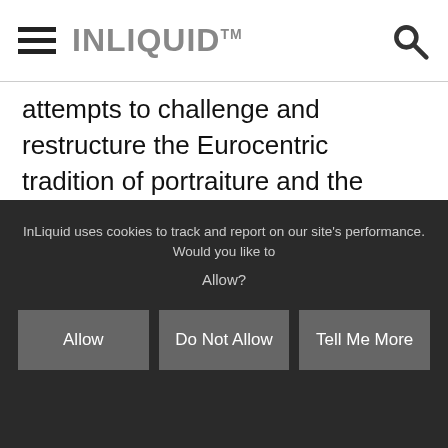INLIQUID™
attempts to challenge and restructure the Eurocentric tradition of portraiture and the notion of those that may be held in high regard. Through the investigation of historic cultural influences and genealogy the fabric and interiority of an identity emerge. Based on the segmentation of social and economic status the defining characteristics of class become a means to describe an identity. It is through collaged bank statements, miscellaneous bills,
InLiquid uses cookies to track and report on our site's performance. Would you like to Allow?
Allow
Do Not Allow
Tell Me More